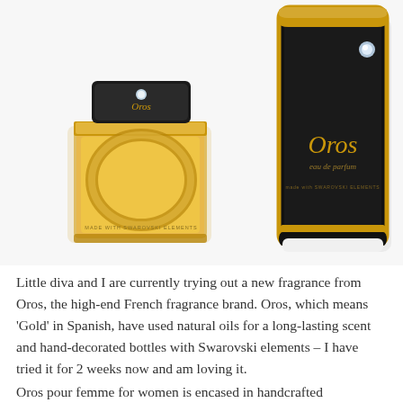[Figure (photo): Two Oros eau de parfum products side by side: a small gold perfume bottle with black cap and Swarovski crystal element on the left, and a large black and gold square box packaging with 'Oros eau de parfum made with SWAROVSKI ELEMENTS' text and a crystal embellishment on the right.]
Little diva and I are currently trying out a new fragrance from Oros, the high-end French fragrance brand. Oros, which means 'Gold' in Spanish, have used natural oils for a long-lasting scent and hand-decorated bottles with Swarovski elements – I have tried it for 2 weeks now and am loving it.
Oros pour femme for women is encased in handcrafted